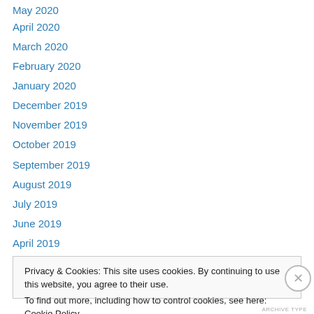May 2020
April 2020
March 2020
February 2020
January 2020
December 2019
November 2019
October 2019
September 2019
August 2019
July 2019
June 2019
April 2019
Privacy & Cookies: This site uses cookies. By continuing to use this website, you agree to their use.
To find out more, including how to control cookies, see here: Cookie Policy
Close and accept